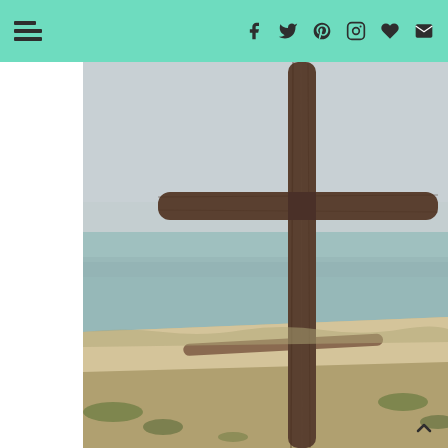Navigation header with hamburger menu and social icons: Facebook, Twitter, Pinterest, Instagram, heart/favorite, email
[Figure (photo): Photograph of a rustic wooden cross made from logs, standing on a sandy beach shore. The cross is prominent in the center-left of the image. Behind it is a calm body of water (lake or sea) with a hazy, overcast sky. The foreground shows sandy ground with sparse grass and vegetation. A driftwood log lies on the beach in the background.]